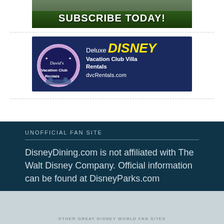[Figure (illustration): Subscribe Today! banner with green background and white bold text]
[Figure (illustration): David's Vacation Club Rentals advertisement banner for Deluxe Disney Vacation Club Villa Rentals at dvcRentals.com on dark blue background]
UNOFFICIAL FAN SITE
DisneyDining.com is not affiliated with The Walt Disney Company. Official information can be found at DisneyParks.com
OTHER GREAT DISNEY WORLD FAN SITES